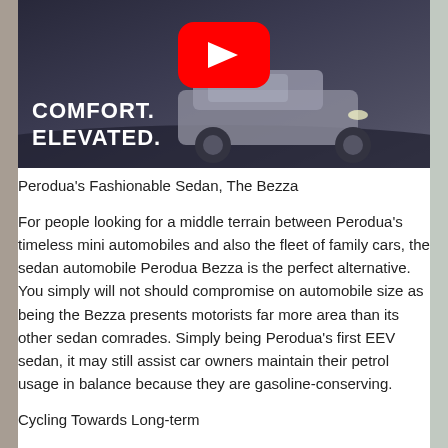[Figure (screenshot): Perodua SUV/car advertisement image with text overlay 'COMFORT. ELEVATED.' and a YouTube play button icon in the center top area. Dark background with car visible.]
Perodua's Fashionable Sedan, The Bezza
For people looking for a middle terrain between Perodua's timeless mini automobiles and also the fleet of family cars, the sedan automobile Perodua Bezza is the perfect alternative. You simply will not should compromise on automobile size as being the Bezza presents motorists far more area than its other sedan comrades. Simply being Perodua's first EEV sedan, it may still assist car owners maintain their petrol usage in balance because they are gasoline-conserving.
Cycling Towards Long-term